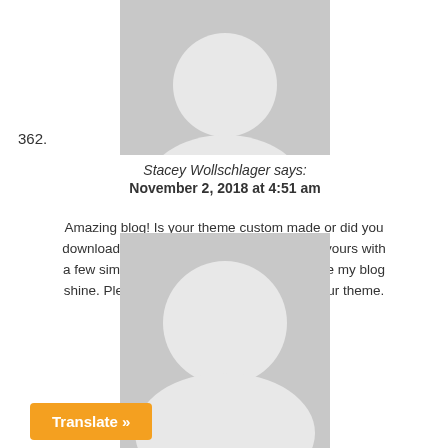[Figure (illustration): Gray avatar placeholder silhouette image (top half), partially visible at top of page]
362.
Stacey Wollschlager says:
November 2, 2018 at 4:51 am
Amazing blog! Is your theme custom made or did you download it from somewhere? A design like yours with a few simple adjustements would really make my blog shine. Please let me know where you got your theme. Thank you
Reply
[Figure (illustration): Gray avatar placeholder silhouette image (bottom half), partially visible at bottom of page]
Translate »